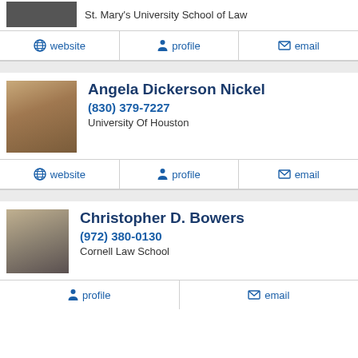St. Mary's University School of Law
website | profile | email
Angela Dickerson Nickel
(830) 379-7227
University Of Houston
website | profile | email
Christopher D. Bowers
(972) 380-0130
Cornell Law School
profile | email